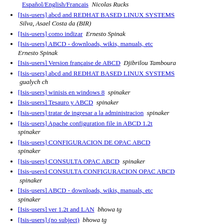Español/English/Français  Nicolas Rucks
[Isis-users] abcd and REDHAT BASED LINUX SYSTEMS  Silva, Asael Costa da (BIR)
[Isis-users] como indizar  Ernesto Spinak
[Isis-users] ABCD - downloads, wikis, manuals, etc  Ernesto Spinak
[Isis-users] Version française de ABCD  Djibrilou Tamboura
[Isis-users] abcd and REDHAT BASED LINUX SYSTEMS  gualych ch
[Isis-users] winisis en windows 8  spinaker
[Isis-users] Tesauro y ABCD  spinaker
[Isis-users] tratar de ingresar a la administracion  spinaker
[Isis-users] Apache configuration file in ABCD 1.2t  spinaker
[Isis-users] CONFIGURACION DE OPAC ABCD  spinaker
[Isis-users] CONSULTA OPAC ABCD  spinaker
[Isis-users] CONSULTA CONFIGURACION OPAC ABCD  spinaker
[Isis-users] ABCD - downloads, wikis, manuals, etc  spinaker
[Isis-users] ver 1.2t and LAN  bhowa tg
[Isis-users] (no subject)  bhowa tg
[Isis-users] (no subject)  bhowa tg